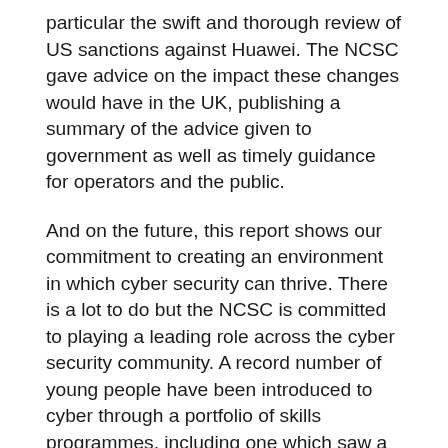particular the swift and thorough review of US sanctions against Huawei. The NCSC gave advice on the impact these changes would have in the UK, publishing a summary of the advice given to government as well as timely guidance for operators and the public.
And on the future, this report shows our commitment to creating an environment in which cyber security can thrive. There is a lot to do but the NCSC is committed to playing a leading role across the cyber security community. A record number of young people have been introduced to cyber through a portfolio of skills programmes, including one which saw a 60% rise in girls applying for the summer courses, which were all delivered remotely. It is a top priority that the UK's future cyber security workforce better represents the UK public, which is why the NCSC's partnership with